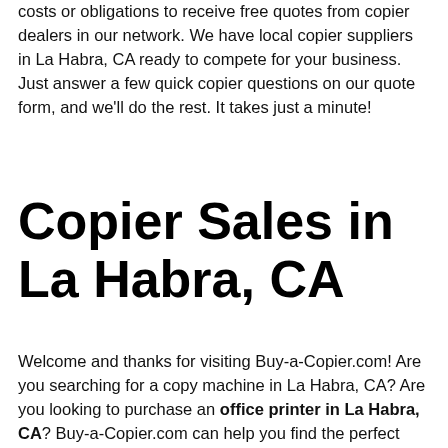costs or obligations to receive free quotes from copier dealers in our network. We have local copier suppliers in La Habra, CA ready to compete for your business. Just answer a few quick copier questions on our quote form, and we'll do the rest. It takes just a minute!
Copier Sales in La Habra, CA
Welcome and thanks for visiting Buy-a-Copier.com! Are you searching for a copy machine in La Habra, CA? Are you looking to purchase an office printer in La Habra, CA? Buy-a-Copier.com can help you find the perfect office copier for your business and save you up to 40%. There are no costs or obligations to receive free quotes from copier dealers in our network. We have local copier suppliers in La